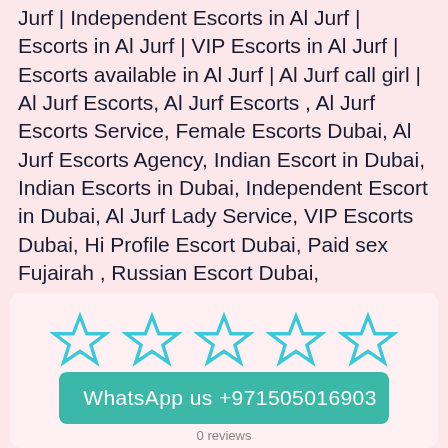Jurf | Independent Escorts in Al Jurf | Escorts in Al Jurf | VIP Escorts in Al Jurf | Escorts available in Al Jurf | Al Jurf call girl | Al Jurf Escorts, Al Jurf Escorts , Al Jurf Escorts Service, Female Escorts Dubai, Al Jurf Escorts Agency, Indian Escort in Dubai, Indian Escorts in Dubai, Independent Escort in Dubai, Al Jurf Lady Service, VIP Escorts Dubai, Hi Profile Escort Dubai, Paid sex Fujairah , Russian Escort Dubai, Independent escort girls in Dubai, Al Jurf housewife paid sex, Al Jurf Escort Agency, Al Jurf Escort Girls Service, Indian Escort girls in Dubai, Al Jurf Independent Escorts , Indian Escorts Agency Dubai, Al Jurf Escort Girls Service.
[Figure (other): Five empty star rating icons in cyan/teal outline, arranged horizontally]
WhatsApp us +971505016903
0 reviews